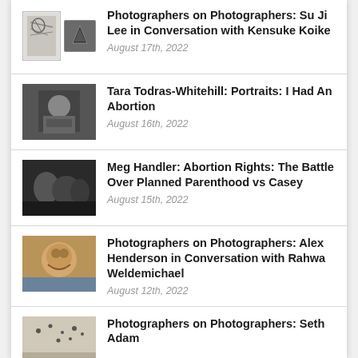Photographers on Photographers: Su Ji Lee in Conversation with Kensuke Koike
Tara Todras-Whitehill: Portraits: I Had An Abortion
Meg Handler: Abortion Rights: The Battle Over Planned Parenthood vs Casey
Photographers on Photographers: Alex Henderson in Conversation with Rahwa Weldemichael
Photographers on Photographers: Seth Adam